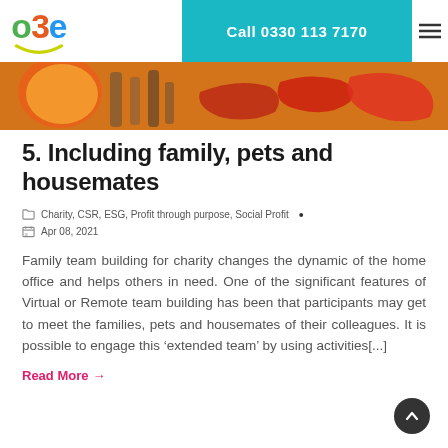o3e | Call 0330 113 7170
[Figure (photo): Overhead view of colourful craft materials including an orange bowl and wooden items]
5. Including family, pets and housemates
Charity, CSR, ESG, Profit through purpose, Social Profit  •  Apr 08, 2021
Family team building for charity changes the dynamic of the home office and helps others in need. One of the significant features of Virtual or Remote team building has been that participants may get to meet the families, pets and housemates of their colleagues. It is possible to engage this ‘extended team’ by using activities[...]
Read More →